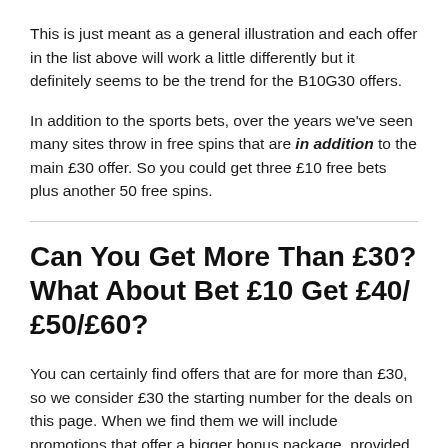This is just meant as a general illustration and each offer in the list above will work a little differently but it definitely seems to be the trend for the B10G30 offers.
In addition to the sports bets, over the years we've seen many sites throw in free spins that are in addition to the main £30 offer. So you could get three £10 free bets plus another 50 free spins.
Can You Get More Than £30? What About Bet £10 Get £40/£50/£60?
You can certainly find offers that are for more than £30, so we consider £30 the starting number for the deals on this page. When we find them we will include promotions that offer a bigger bonus package, provided that the minimum deposit needed to trigger